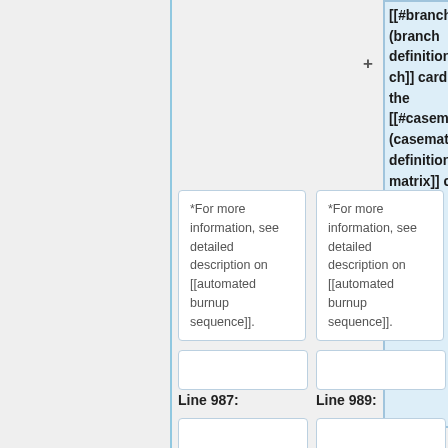[[#branch (branch definition)|branch]] card, see the [[#casematrix (casematrix definition)|casematrix]] card.
*For more information, see detailed description on [[automated burnup sequence]].
*For more information, see detailed description on [[automated burnup sequence]].
Line 987:
Line 989: